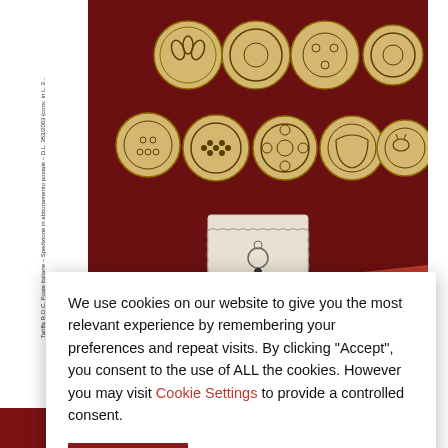[Figure (illustration): Magazine cover showing pasta shapes arranged on dark red background, with a stamp and banner logo 'tr NICOLAI FRATELLI'. Bottom strip shows 'N. 4 October / December 2019', globe icon, 'Avenue media', and 'Year XXIV'.]
We use cookies on our website to give you the most relevant experience by remembering your preferences and repeat visits. By clicking “Accept”, you consent to the use of ALL the cookies. However you may visit Cookie Settings to provide a controlled consent.
ACCEPT   Settings   Privacy Policy